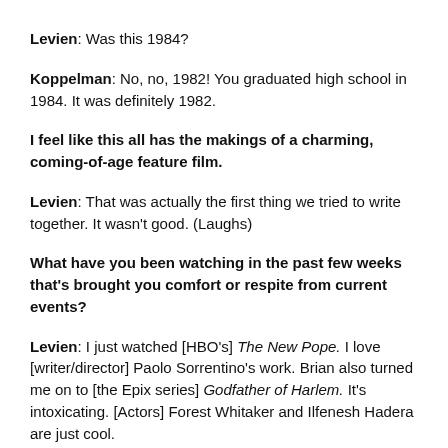Levien: Was this 1984?
Koppelman: No, no, 1982! You graduated high school in 1984. It was definitely 1982.
I feel like this all has the makings of a charming, coming-of-age feature film.
Levien: That was actually the first thing we tried to write together. It wasn't good. (Laughs)
What have you been watching in the past few weeks that's brought you comfort or respite from current events?
Levien: I just watched [HBO's] The New Pope. I love [writer/director] Paolo Sorrentino's work. Brian also turned me on to [the Epix series] Godfather of Harlem. It's intoxicating. [Actors] Forest Whitaker and Ilfenesh Hadera are just cool.